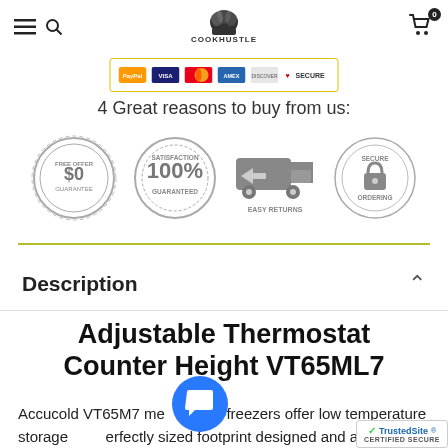CookHustle navigation header with hamburger menu, search, logo, and cart (0 items)
[Figure (infographic): Payment methods strip showing PayPal, Visa, Mastercard, and other card icons with SECURE badge inside a yellow-bordered box]
4 Great reasons to buy from us:
[Figure (infographic): Four trust badges: $0 Free Offer Guarantee seal, 100% Satisfaction Guaranteed seal, Easy Returns truck icon, and Secure Ordering padlock badge]
Description
Adjustable Thermostat Counter Height VT65ML7
Accucold VT65M7 medical all-freezers offer low temperature storage, perfectly sized footprint designed and approved for